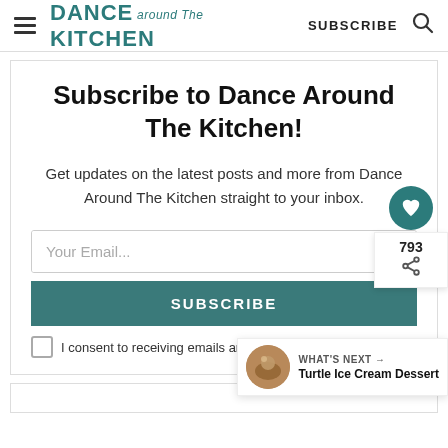DANCE around The KITCHEN | SUBSCRIBE
Subscribe to Dance Around The Kitchen!
Get updates on the latest posts and more from Dance Around The Kitchen straight to your inbox.
Your Email...
SUBSCRIBE
I consent to receiving emails and personalized ads.
793
WHAT'S NEXT → Turtle Ice Cream Dessert